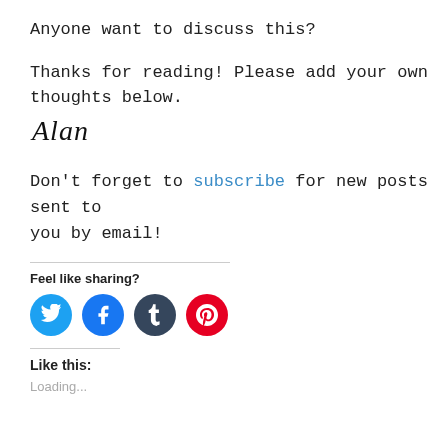Anyone want to discuss this?
Thanks for reading! Please add your own thoughts below.
[Figure (illustration): Handwritten cursive signature reading 'Alan']
Don't forget to subscribe for new posts sent to you by email!
Feel like sharing?
[Figure (infographic): Four social media share buttons: Twitter (blue), Facebook (blue), Tumblr (dark navy), Pinterest (red)]
Like this:
Loading...